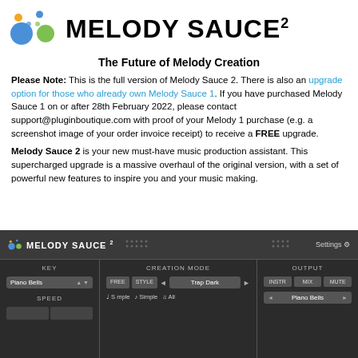MELODY SAUCE²
The Future of Melody Creation
Please Note: This is the full version of Melody Sauce 2. There is also an upgrade option for those who already own Melody Sauce 1. If you have purchased Melody Sauce 1 on or after 28th February 2022, please contact support@pluginboutique.com with proof of your Melody 1 purchase (e.g. a screenshot image of your order invoice receipt) to receive a FREE upgrade.
Melody Sauce 2 is your new must-have music production assistant. This supercharged upgrade is a massive overhaul of the original version, with a set of powerful new features to inspire you and your music making.
[Figure (screenshot): Screenshot of Melody Sauce 2 plugin interface showing KEY, CREATION MODE, and OUTPUT sections with controls for Piano Bells preset, FREE/STYLE/Trap Dark mode selection, INSTR/MIX/MUTE output buttons, and Simple/All melody options.]